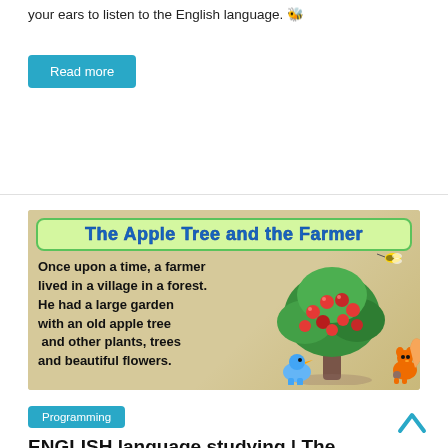your ears to listen to the English language.
Read more
[Figure (illustration): Educational story card titled 'The Apple Tree and the Farmer' with text: 'Once upon a time, a farmer lived in a village in a forest. He had a large garden with an old apple tree and other plants, trees and beautiful flowers.' Illustrated with a cartoon apple tree, a bee, a blue bird, and a squirrel on a parchment background.]
Programming
ENGLISH language studying | The right way to study English in 2022!